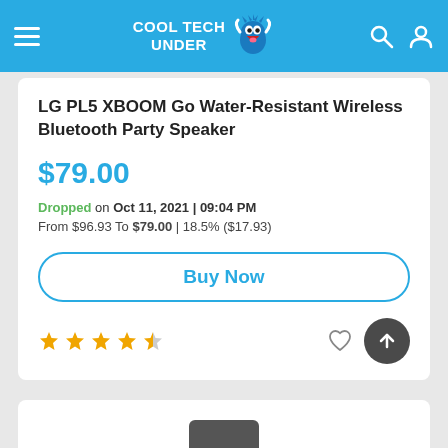COOL TECH UNDER
LG PL5 XBOOM Go Water-Resistant Wireless Bluetooth Party Speaker
$79.00
Dropped on Oct 11, 2021 | 09:04 PM
From $96.93 To $79.00 | 18.5% ($17.93)
Buy Now
★★★★½